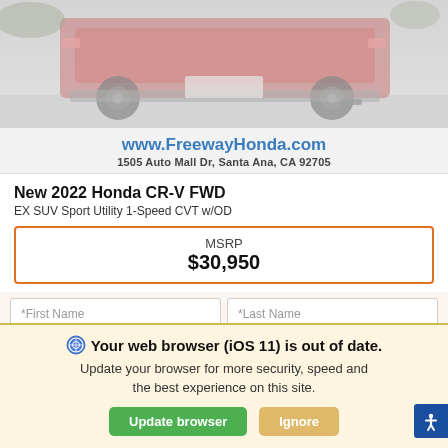[Figure (photo): Partial rear view of a red Honda CR-V SUV on a lot background, faded/overlaid]
www.FreewayHonda.com
1505 Auto Mall Dr, Santa Ana, CA 92705
New 2022 Honda CR-V FWD
EX SUV Sport Utility 1-Speed CVT w/OD
| MSRP | $30,950 |
*First Name	*Last Name
*Email
Phone	Get Our Best Price
⚙ Your web browser (iOS 11) is out of date.
Update your browser for more security, speed and the best experience on this site.
Update browser   Ignore